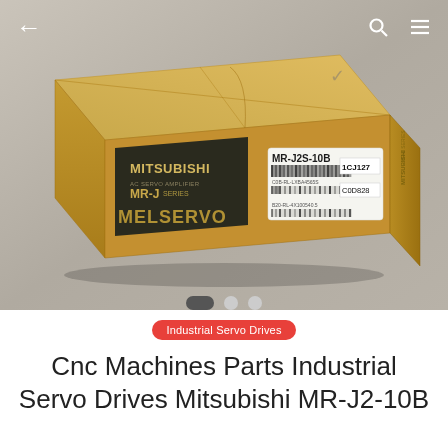[Figure (photo): Photo of a Mitsubishi MR-J2S-10B AC servo amplifier in its original cardboard box. The box shows the MITSUBISHI brand, AC SERVO AMPLIFIER MR-J SERIES label, MELSERVO branding, and a white label sticker reading MR-J2S-10B with barcode and reference number 1CJ127. Navigation UI overlaid: back arrow top-left, search and menu icons top-right, carousel dots at bottom of photo.]
Industrial Servo Drives
Cnc Machines Parts Industrial Servo Drives Mitsubishi MR-J2-10B